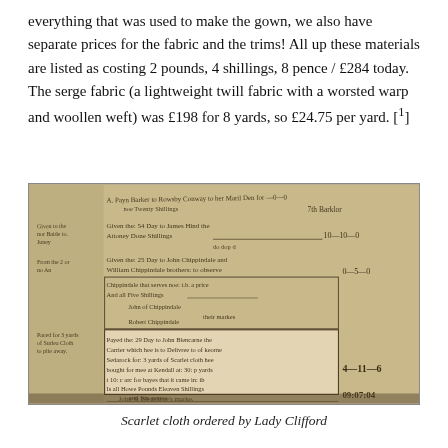everything that was used to make the gown, we also have separate prices for the fabric and the trims! All up these materials are listed as costing 2 pounds, 4 shillings, 8 pence / £284 today. The serge fabric (a lightweight twill fabric with a worsted warp and woollen weft) was £198 for 8 yards, so £24.75 per yard. [1]
[Figure (photo): Historical handwritten document — an old ledger or account book entry showing payments for scarlet cloth ordered by Lady Clifford. The document shows various entries with monetary amounts such as 0-10-0, 0-5-0, 4-11-6, and a total of 09:07:04. Text includes references to John Blencarne, serge cloth, Kendall, and other period-specific names and places.]
Scarlet cloth ordered by Lady Clifford